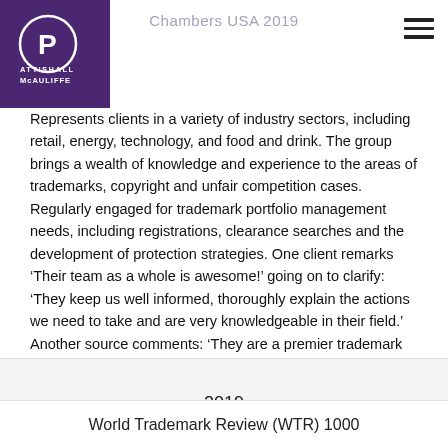Chambers USA 2019
[Figure (logo): Pattishall McAuliffe law firm logo — white circle with P and text on purple background]
Represents clients in a variety of industry sectors, including retail, energy, technology, and food and drink. The group brings a wealth of knowledge and experience to the areas of trademarks, copyright and unfair competition cases. Regularly engaged for trademark portfolio management needs, including registrations, clearance searches and the development of protection strategies. One client remarks ‘Their team as a whole is awesome!’ going on to clarify: ‘They keep us well informed, thoroughly explain the actions we need to take and are very knowledgeable in their field.’ Another source comments: ‘They are a premier trademark boutique.’"
2019
World Trademark Review (WTR) 1000